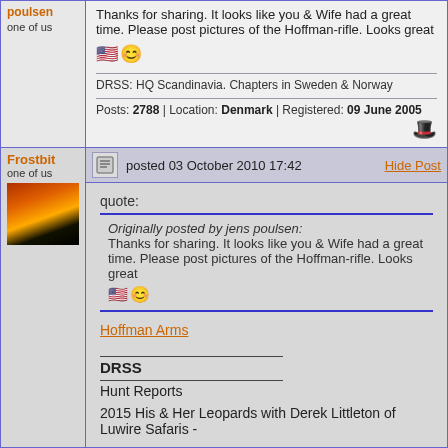poulsen
one of us
Thanks for sharing. It looks like you & Wife had a great time. Please post pictures of the Hoffman-rifle. Looks great
DRSS: HQ Scandinavia. Chapters in Sweden & Norway
Posts: 2788 | Location: Denmark | Registered: 09 June 2005
Frostbit
one of us
posted 03 October 2010 17:42
Hide Post
quote:
Originally posted by jens poulsen:
Thanks for sharing. It looks like you & Wife had a great time. Please post pictures of the Hoffman-rifle. Looks great
Hoffman Arms
DRSS
Hunt Reports
2015 His & Her Leopards with Derek Littleton of Luwire Safaris -